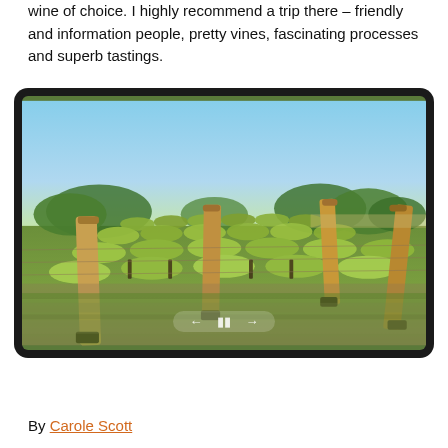wine of choice. I highly recommend a trip there – friendly and information people, pretty vines, fascinating processes and superb tastings.
[Figure (photo): A sunny vineyard with rows of grapevines supported by wooden posts, green grass between rows, trees in the background, and a blue sky. A media player control bar (back, pause, forward) is overlaid at the bottom center.]
By Carole Scott